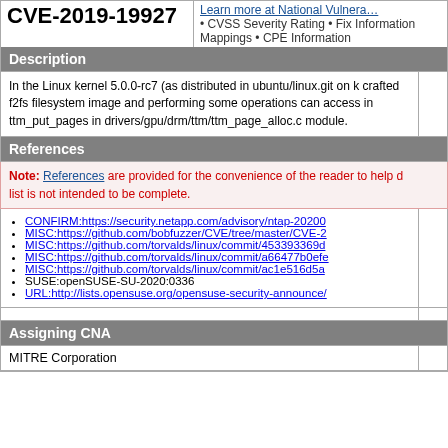CVE-2019-19927
Learn more at National Vulnerability • CVSS Severity Rating • Fix Information Mappings • CPE Information
Description
In the Linux kernel 5.0.0-rc7 (as distributed in ubuntu/linux.git on k crafted f2fs filesystem image and performing some operations can access in ttm_put_pages in drivers/gpu/drm/ttm/ttm_page_alloc.c module.
References
Note: References are provided for the convenience of the reader to help d list is not intended to be complete.
CONFIRM:https://security.netapp.com/advisory/ntap-20200
MISC:https://github.com/bobfuzzer/CVE/tree/master/CVE-2
MISC:https://github.com/torvalds/linux/commit/453393369d
MISC:https://github.com/torvalds/linux/commit/a66477b0efe
MISC:https://github.com/torvalds/linux/commit/ac1e516d5a
SUSE:openSUSE-SU-2020:0336
URL:http://lists.opensuse.org/opensuse-security-announce/
Assigning CNA
MITRE Corporation